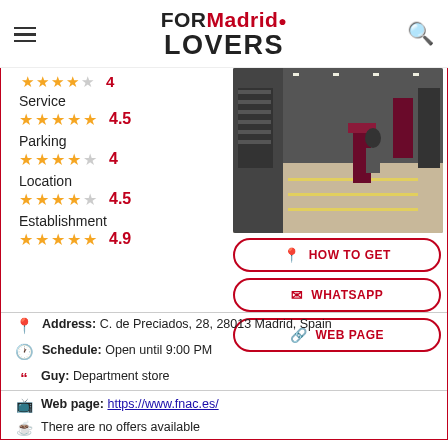FORMadrid LOVERS
Service 4.5 stars (4.5)
Parking 4 stars (4)
Location 4.5 stars (4.5)
Establishment 4.9 stars (4.9)
[Figure (photo): Interior of a retail store (FNAC Madrid) showing aisles, floor markings, and displays]
HOW TO GET
WHATSAPP
WEB PAGE
Address: C. de Preciados, 28, 28013 Madrid, Spain
Schedule: Open until 9:00 PM
Guy: Department store
Web page: https://www.fnac.es/
There are no offers available